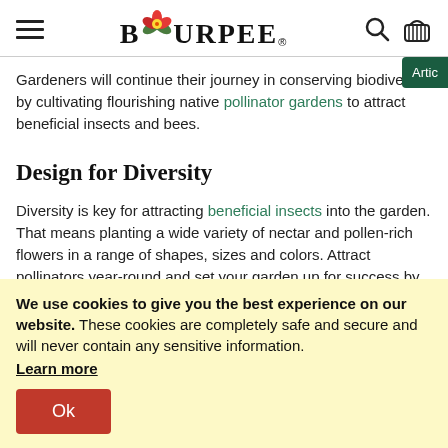Burpee
Gardeners will continue their journey in conserving biodiversity by cultivating flourishing native pollinator gardens to attract beneficial insects and bees.
Design for Diversity
Diversity is key for attracting beneficial insects into the garden. That means planting a wide variety of nectar and pollen-rich flowers in a range of shapes, sizes and colors. Attract pollinators year-round and set your garden up for success by maintaining a variety of plants that bloom throughout the season. You can also
We use cookies to give you the best experience on our website. These cookies are completely safe and secure and will never contain any sensitive information. Learn more Ok